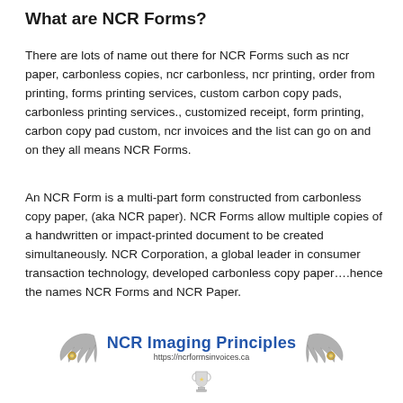What are NCR Forms?
There are lots of name out there for NCR Forms such as ncr paper, carbonless copies, ncr carbonless, ncr printing, order from printing, forms printing services, custom carbon copy pads, carbonless printing services., customized receipt, form printing, carbon copy pad custom, ncr invoices and the list can go on and on they all means NCR Forms.
An NCR Form is a multi-part form constructed from carbonless copy paper, (aka NCR paper). NCR Forms allow multiple copies of a handwritten or impact-printed document to be created simultaneously. NCR Corporation, a global leader in consumer transaction technology, developed carbonless copy paper….hence the names NCR Forms and NCR Paper.
[Figure (logo): NCR Imaging Principles logo with two winged dragon/eagle ornaments flanking the text 'NCR Imaging Principles' and URL 'https://ncrformsinvoices.ca', with a trophy icon below]